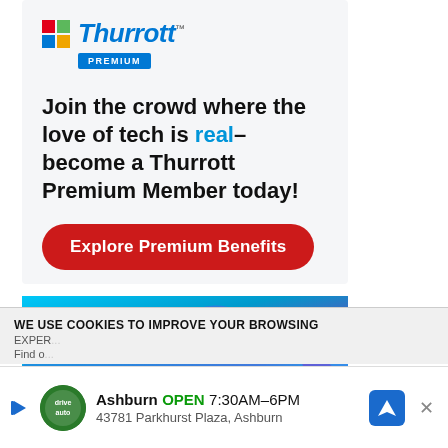[Figure (logo): Thurrott Premium logo with colored T icon and blue PREMIUM badge]
Join the crowd where the love of tech is real–become a Thurrott Premium Member today!
Explore Premium Benefits
[Figure (illustration): Abstract blue and purple swirling waves background image]
WE USE COOKIES TO IMPROVE YOUR BROWSING EXPER...
Find o...
Ashburn OPEN 7:30AM–6PM 43781 Parkhurst Plaza, Ashburn